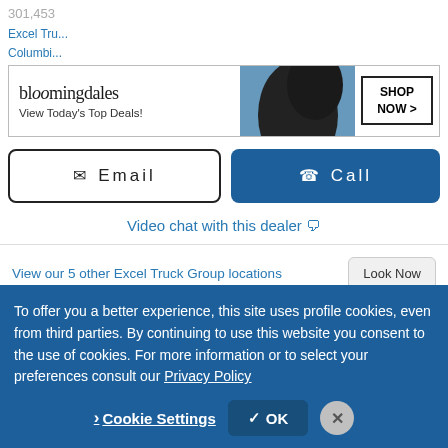301,453
Excel Tru...
Columbi...
[Figure (screenshot): Bloomingdale's advertisement banner: logo, View Today's Top Deals! tagline, model photo, SHOP NOW > button]
Email
Call
Video chat with this dealer
View our 5 other Excel Truck Group locations
Look Now
[Figure (photo): A truck photographed from the side/rear with blue sky and clouds in the background]
To offer you a better experience, this site uses profile cookies, even from third parties. By continuing to use this website you consent to the use of cookies. For more information or to select your preferences consult our Privacy Policy
Cookie Settings
OK